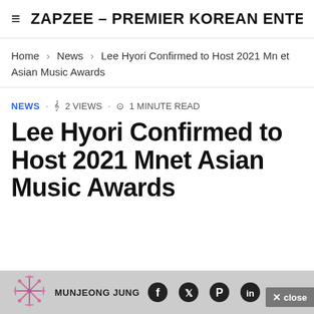≡  ZAPZEE – PREMIER KOREAN ENTE
Home > News > Lee Hyori Confirmed to Host 2021 Mnet Asian Music Awards
NEWS · 〈2 VIEWS · ⏱ 1 MINUTE READ
Lee Hyori Confirmed to Host 2021 Mnet Asian Music Awards
MUNJEONG JUNG